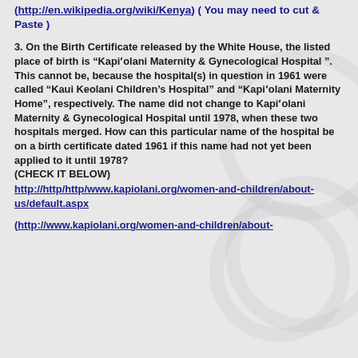(http://en.wikipedia.org/wiki/Kenya) ( You may need to cut & Paste )
3. On the Birth Certificate released by the White House, the listed place of birth is “Kapiʻolani Maternity & Gynecological Hospital ”. This cannot be, because the hospital(s) in question in 1961 were called “Kaui Keolani Children’s Hospital” and “Kapiʻolani Maternity Home”, respectively. The name did not change to Kapiʻolani Maternity & Gynecological Hospital until 1978, when these two hospitals merged. How can this particular name of the hospital be on a birth certificate dated 1961 if this name had not yet been applied to it until 1978?
(CHECK IT BELOW)
http://http/http/www.kapiolani.org/women-and-children/about-us/default.aspx
(http://www.kapiolani.org/women-and-children/about-